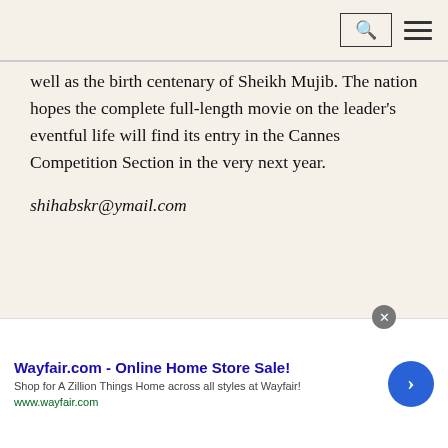[search icon] [hamburger menu]
well as the birth centenary of Sheikh Mujib. The nation hopes the complete full-length movie on the leader's eventful life will find its entry in the Cannes Competition Section in the very next year.
shihabskr@ymail.com
[Figure (infographic): Advertisement banner: Wayfair.com - Online Home Store Sale! Shop for A Zillion Things Home across all styles at Wayfair! www.wayfair.com with blue arrow button and close button]